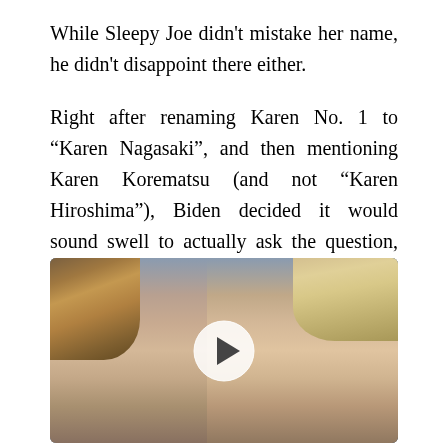While Sleepy Joe didn't mistake her name, he didn't disappoint there either.
Right after renaming Karen No. 1 to “Karen Nagasaki”, and then mentioning Karen Korematsu (and not “Karen Hiroshima”), Biden decided it would sound swell to actually ask the question, “Where are the Karens?”
[Figure (photo): A photo of two people (a woman on the left with long blond-brown hair, and a man on the right with light hair) with a video play button overlay in the center.]